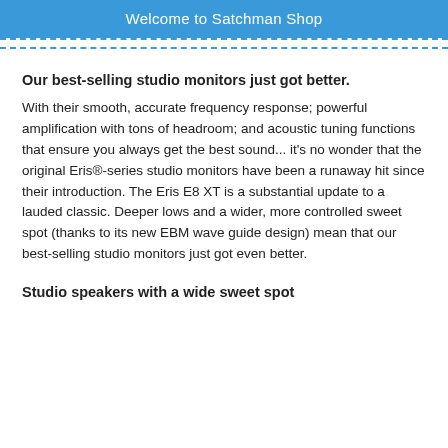Welcome to Satchman Shop
Our best-selling studio monitors just got better.
With their smooth, accurate frequency response; powerful amplification with tons of headroom; and acoustic tuning functions that ensure you always get the best sound... it's no wonder that the original Eris®-series studio monitors have been a runaway hit since their introduction. The Eris E8 XT is a substantial update to a lauded classic. Deeper lows and a wider, more controlled sweet spot (thanks to its new EBM wave guide design) mean that our best-selling studio monitors just got even better.
Studio speakers with a wide sweet spot